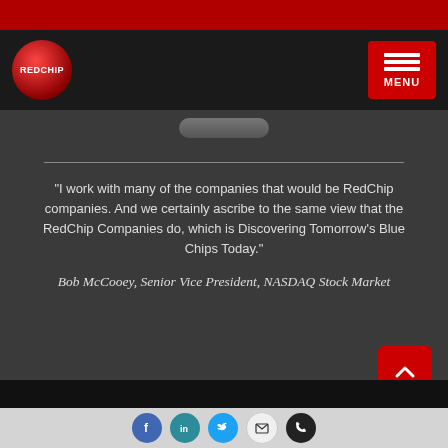[Figure (logo): RedChip logo - red circular badge with REDCHIP text]
[Figure (other): Red hamburger menu button with MENU label]
"I work with many of the companies that would be RedChip companies. And we certainly ascribe to the same view that the RedChip Companies do, which is Discovering Tomorrow's Blue Chips Today."
Bob McCooey, Senior Vice President, NASDAQ Stock Market
About Us
[Figure (other): Social media icons row: Facebook, LinkedIn, Twitter, Email, Phone]